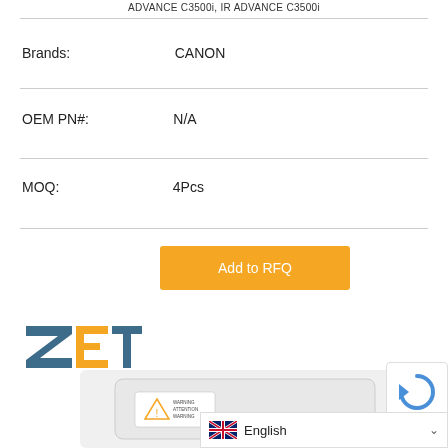ADVANCE C3500i, IR ADVANCE C3500i
Brands: CANON
OEM PN#: N/A
MOQ: 4Pcs
Add to RFQ
[Figure (logo): ZET company logo in dark teal/navy stylized text]
[Figure (photo): Product packaging/box with warning labels visible]
[Figure (other): CAPTCHA reCAPTCHA widget partially visible]
English